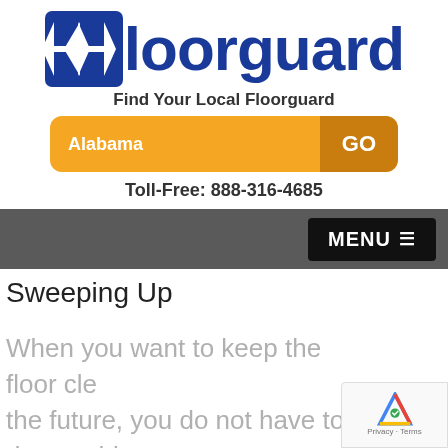[Figure (logo): Floorguard logo with blue double-arrow icon and blue text 'floorguard']
Find Your Local Floorguard
[Figure (screenshot): Orange search bar with 'Alabama' text and 'GO' button]
Toll-Free: 888-316-4685
[Figure (screenshot): Dark gray navigation bar with black MENU button and hamburger icon]
Sweeping Up
When you want to keep the floor cle the future, you do not have to do any thing